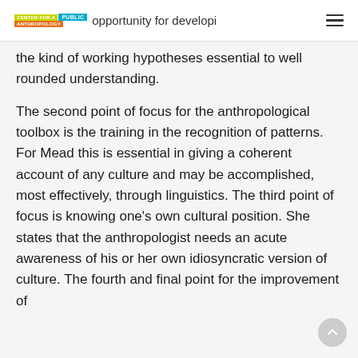CENTER FOR A PUBLIC ANTHROPOLOGY — opportunity for developi
the kind of working hypotheses essential to well rounded understanding.
The second point of focus for the anthropological toolbox is the training in the recognition of patterns. For Mead this is essential in giving a coherent account of any culture and may be accomplished, most effectively, through linguistics. The third point of focus is knowing one's own cultural position. She states that the anthropologist needs an acute awareness of his or her own idiosyncratic version of culture. The fourth and final point for the improvement of